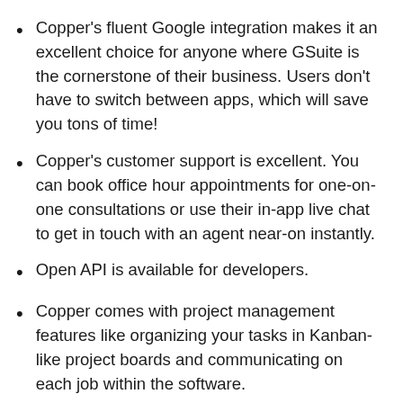Copper's fluent Google integration makes it an excellent choice for anyone where GSuite is the cornerstone of their business. Users don't have to switch between apps, which will save you tons of time!
Copper's customer support is excellent. You can book office hour appointments for one-on-one consultations or use their in-app live chat to get in touch with an agent near-on instantly.
Open API is available for developers.
Copper comes with project management features like organizing your tasks in Kanban-like project boards and communicating on each job within the software.